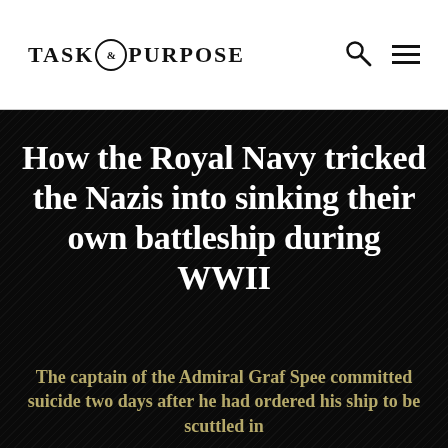TASK & PURPOSE
How the Royal Navy tricked the Nazis into sinking their own battleship during WWII
The captain of the Admiral Graf Spee committed suicide two days after he had ordered his ship to be scuttled in